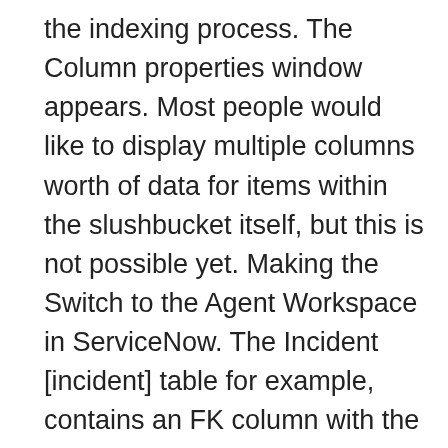the indexing process. The Column properties window appears. Most people would like to display multiple columns worth of data for items within the slushbucket itself, but this is not possible yet. Making the Switch to the Agent Workspace in ServiceNow. The Incident [incident] table for example, contains an FK column with the label Assigned to, and an actual column name of assigned_to. If TRUE, values are rendered based on the display pattern of the computed field, rather than on the column value of the first noncomputed field reference upon which the computed field is based. Double-click the saved query that you want to open. Users can create and manage ServiceNow cases, manage upgrades, follow changes, view knowledge content, and more.